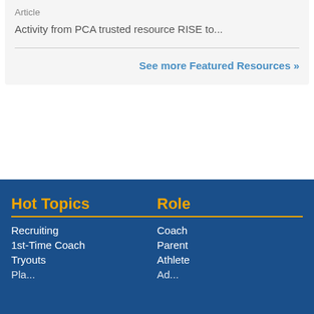Article
Activity from PCA trusted resource RISE to...
See more Featured Resources »
Hot Topics
Recruiting
1st-Time Coach
Tryouts
Role
Coach
Parent
Athlete